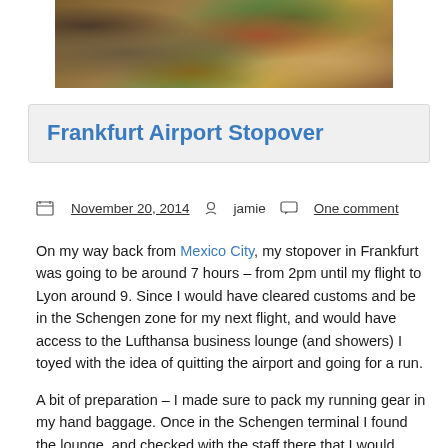[Figure (photo): Autumn leaves on ground, photo at top of page]
Frankfurt Airport Stopover
November 20, 2014   jamie   One comment
On my way back from Mexico City, my stopover in Frankfurt was going to be around 7 hours – from 2pm until my flight to Lyon around 9. Since I would have cleared customs and be in the Schengen zone for my next flight, and would have access to the Lufthansa business lounge (and showers) I toyed with the idea of quitting the airport and going for a run.
A bit of preparation – I made sure to pack my running gear in my hand baggage. Once in the Schengen terminal I found the lounge, and checked with the staff there that I would definitely be able to leave the airport and come back in. My